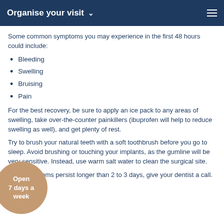Organise your visit
Some common symptoms you may experience in the first 48 hours could include:
Bleeding
Swelling
Bruising
Pain
For the best recovery, be sure to apply an ice pack to any areas of swelling, take over-the-counter painkillers (ibuprofen will help to reduce swelling as well), and get plenty of rest.
Try to brush your natural teeth with a soft toothbrush before you go to sleep. Avoid brushing or touching your implants, as the gumline will be very sensitive. Instead, use warm salt water to clean the surgical site.
If the symptoms persist longer than 2 to 3 days, give your dentist a call.
[Figure (illustration): A circular badge reading 'Open 7 days a week' with a tan/beige background color]